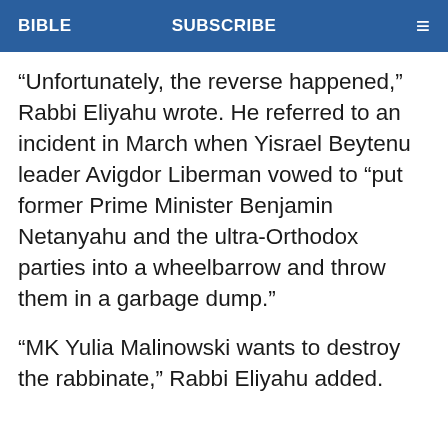BIBLE   SUBSCRIBE   ≡
“Unfortunately, the reverse happened,” Rabbi Eliyahu wrote. He referred to an incident in March when Yisrael Beytenu leader Avigdor Liberman vowed to “put  former Prime Minister Benjamin Netanyahu and the ultra-Orthodox parties into a wheelbarrow and throw them in a garbage dump.”
“MK Yulia Malinowski wants to destroy the rabbinate,” Rabbi Eliyahu added.